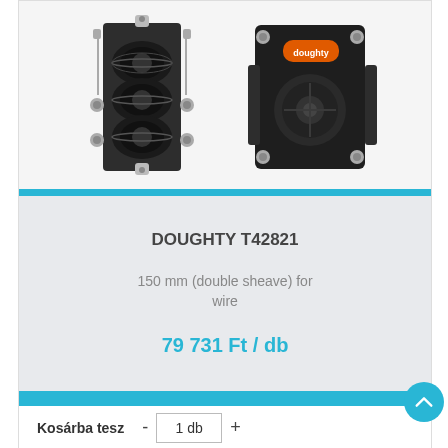[Figure (photo): Two views of the Doughty T42821 double sheave pulley block — front view showing triple grooved wheels with bolt assembly, and side/rear view showing the black metal housing with Doughty orange logo label and mounting bolts.]
DOUGHTY T42821
150 mm (double sheave) for wire
79 731 Ft / db
Kosárba tesz  -  1 db  +